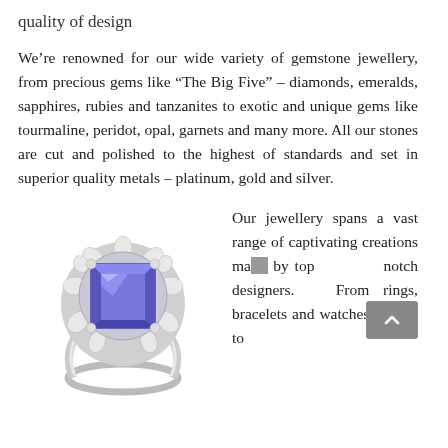quality of design
We’re renowned for our wide variety of gemstone jewellery, from precious gems like “The Big Five” – diamonds, emeralds, sapphires, rubies and tanzanites to exotic and unique gems like tourmaline, peridot, opal, garnets and many more. All our stones are cut and polished to the highest of standards and set in superior quality metals – platinum, gold and silver.
[Figure (photo): A white gold ring with a large square-cut blue tanzanite gemstone surrounded by a halo of small diamonds.]
Our jewellery spans a vast range of captivating creations made by top notch designers. From rings, bracelets and watches to